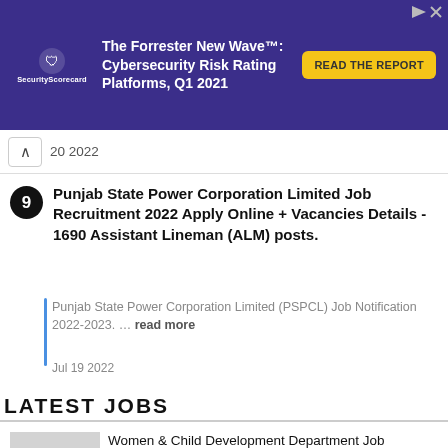[Figure (screenshot): SecurityScorecard advertisement banner with purple background. Text reads: 'The Forrester New Wave™: Cybersecurity Risk Rating Platforms, Q1 2021' with 'READ THE REPORT' button.]
20 2022
9. Punjab State Power Corporation Limited Job Recruitment 2022 Apply Online + Vacancies Details - 1690 Assistant Lineman (ALM) posts.
Punjab State Power Corporation Limited (PSPCL) Job Notification 2022-2023. … read more
Jul 19 2022
LATEST JOBS
Women & Child Development Department Job Recruitment 2022 Apply Online + Vacancies Details - 282 Anganwadi Workers, Anganwadi Helpers posts.
[Figure (screenshot): Advertisement: 'Do you want to learn about leadership or do you become a leader?' with an OPEN button and a circular logo.]
Apply Online + Vacancies Details - 103 Officer, Manager